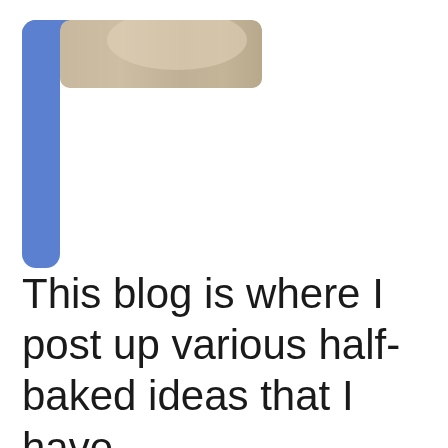[Figure (illustration): A blue L-shaped bracket/frame in the upper-left area, with a partially visible photo (showing what appears to be a person's hair/head) overlapping the top portion of the frame. The blue bracket has thick left and top borders with rounded corners.]
This blog is where I post up various half-baked ideas that I have.